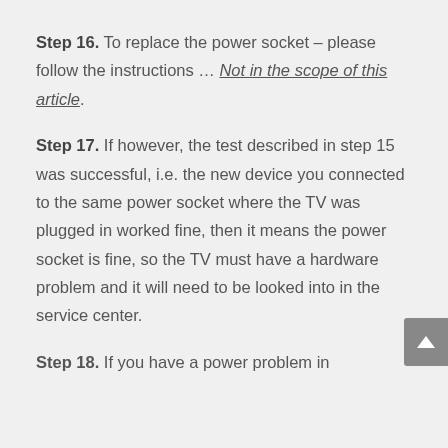Step 16. To replace the power socket – please follow the instructions … Not in the scope of this article.
Step 17. If however, the test described in step 15 was successful, i.e. the new device you connected to the same power socket where the TV was plugged in worked fine, then it means the power socket is fine, so the TV must have a hardware problem and it will need to be looked into in the service center.
Step 18. If you have a power problem in